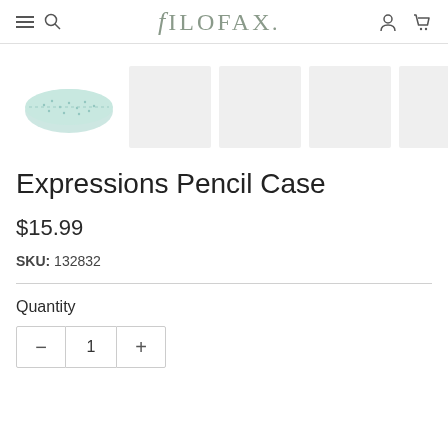FILOFAX
[Figure (photo): Filofax Expressions Pencil Case product image (mint/light teal with dot pattern, triangular pencil case) shown as main thumbnail, plus four light gray placeholder image squares]
Expressions Pencil Case
$15.99
SKU: 132832
Quantity